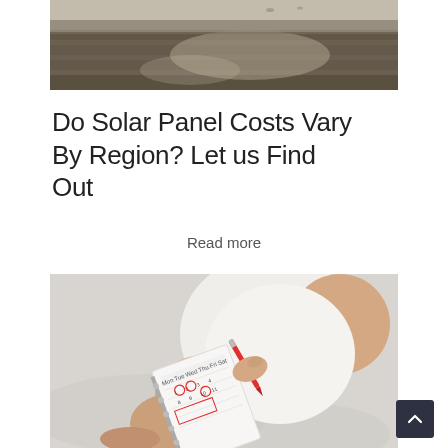[Figure (photo): Rooftop/solar panels photo cropped at top]
Do Solar Panel Costs Vary By Region? Let us Find Out
Read more
[Figure (photo): Person sitting cross-legged holding a calendar/planner and marking it with a red pen, wearing a white top]
[Figure (other): Scroll-to-top button (dark navy arrow up button)]